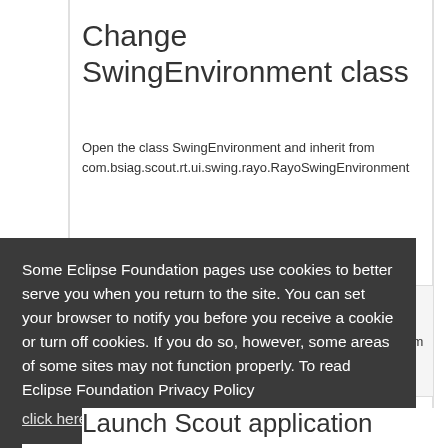Change SwingEnvironment class
Open the class SwingEnvironment and inherit from com.bsiag.scout.rt.ui.swing.rayo.RayoSwingEnvironment
Some Eclipse Foundation pages use cookies to better serve you when you return to the site. You can set your browser to notify you before you receive a cookie or turn off cookies. If you do so, however, some areas of some sites may not function properly. To read Eclipse Foundation Privacy Policy click here.
Launch Scout application